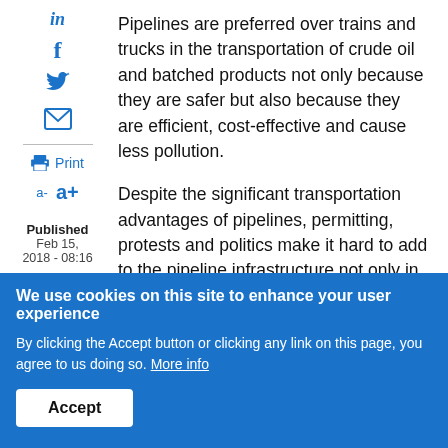Pipelines are preferred over trains and trucks in the transportation of crude oil and batched products not only because they are safer but also because they are efficient, cost-effective and cause less pollution.
Despite the significant transportation advantages of pipelines, permitting, protests and politics make it hard to add to the pipeline infrastructure not only in North America but virtually everywhere around the world. This capacity shortage keeps our multi-products fully operational, pumping ...millions of barrels of fuel the around...
Published
Feb 15, 2018 - 08:16
We use cookies on this site to enhance your user experience
By clicking the Accept button or clicking any link on this page, you agree to us doing so. More info